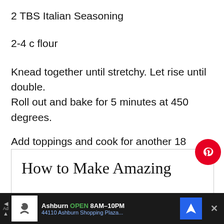2 TBS Italian Seasoning
2-4 c flour
Knead together until stretchy. Let rise until double. Roll out and bake for 5 minutes at 450 degrees.
Add toppings and cook for another 18 minutes.
[Figure (screenshot): Embedded preview card showing 'How to Make Amazing Mediterranean Focaccia Bread' with Pinterest save button overlay]
Ashburn OPEN 8AM-10PM 44110 Ashburn Shopping Plaza...